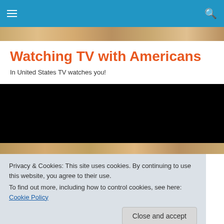Watching TV with Americans — navigation bar with hamburger menu and search icon
[Figure (photo): Decorative header image showing wooden beams or ceiling structure in warm tones]
Watching TV with Americans
In United States TV watches you!
[Figure (other): Black video embed area]
[Figure (photo): Strip of image showing wooden/rustic decorative background in warm brown tones]
Privacy & Cookies: This site uses cookies. By continuing to use this website, you agree to their use.
To find out more, including how to control cookies, see here: Cookie Policy
It's Christmas so TV is all about messages. Though if you